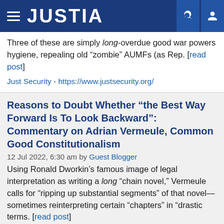JUSTIA
Three of these are simply long-overdue good war powers hygiene, repealing old “zombie” AUMFs (as Rep. [read post]
Just Security - https://www.justsecurity.org/
Reasons to Doubt Whether “the Best Way Forward Is To Look Backward”: Commentary on Adrian Vermeule, Common Good Constitutionalism
12 Jul 2022, 6:30 am by Guest Blogger
Using Ronald Dworkin’s famous image of legal interpretation as writing a long “chain novel,” Vermeule calls for “ripping up substantial segments” of that novel—sometimes reinterpreting certain “chapters” in “drastic terms. [read post]
Balkinization - https://balkin.blogspot.com/